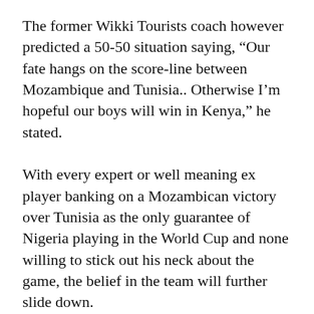The former Wikki Tourists coach however predicted a 50-50 situation saying, “Our fate hangs on the score-line between Mozambique and Tunisia.. Otherwise I’m hopeful our boys will win in Kenya,” he stated.
With every expert or well meaning ex player banking on a Mozambican victory over Tunisia as the only guarantee of Nigeria playing in the World Cup and none willing to stick out his neck about the game, the belief in the team will further slide down.